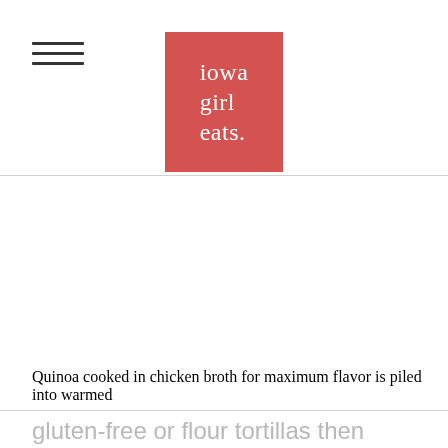iowa girl eats.
Quinoa cooked in chicken broth for maximum flavor is piled into warmed gluten-free or flour tortillas then topped with...